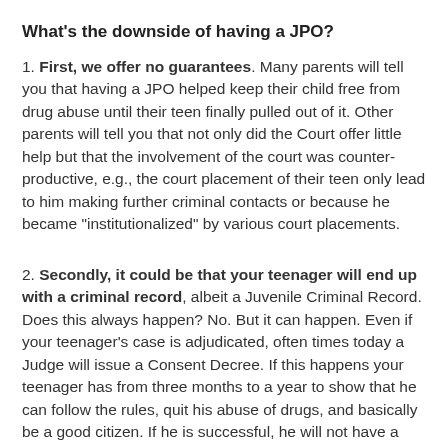What's the downside of having a JPO?
1. First, we offer no guarantees. Many parents will tell you that having a JPO helped keep their child free from drug abuse until their teen finally pulled out of it. Other parents will tell you that not only did the Court offer little help but that the involvement of the court was counter-productive, e.g., the court placement of their teen only lead to him making further criminal contacts or because he became "institutionalized" by various court placements.
2. Secondly, it could be that your teenager will end up with a criminal record, albeit a Juvenile Criminal Record. Does this always happen? No. But it can happen. Even if your teenager's case is adjudicated, often times today a Judge will issue a Consent Decree. If this happens your teenager has from three months to a year to show that he can follow the rules, quit his abuse of drugs, and basically be a good citizen. If he is successful, he will not have a Juvenile